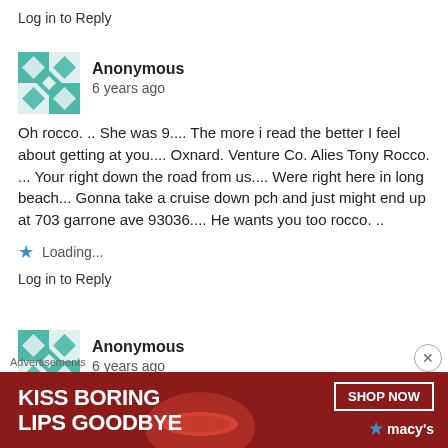Log in to Reply
Anonymous
6 years ago
Oh rocco. .. She was 9.... The more i read the better I feel about getting at you.... Oxnard. Venture Co. Alies Tony Rocco. ... Your right down the road from us.... Were right here in long beach... Gonna take a cruise down pch and just might end up at 703 garrone ave 93036.... He wants you too rocco. ..
Loading...
Log in to Reply
Anonymous
6 years ago
Oh and rocco before you go and call me a nigger and say how sto...
Advertisements
[Figure (other): Macy's advertisement banner: KISS BORING LIPS GOODBYE with SHOP NOW button and Macy's logo]